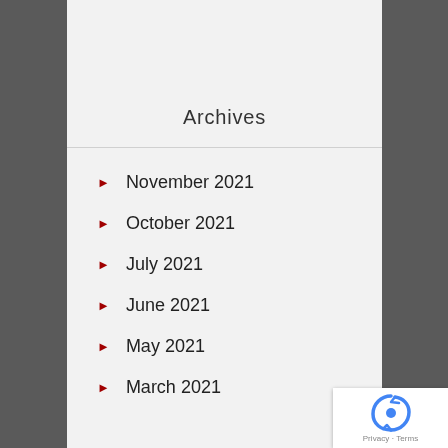Archives
November 2021
October 2021
July 2021
June 2021
May 2021
March 2021